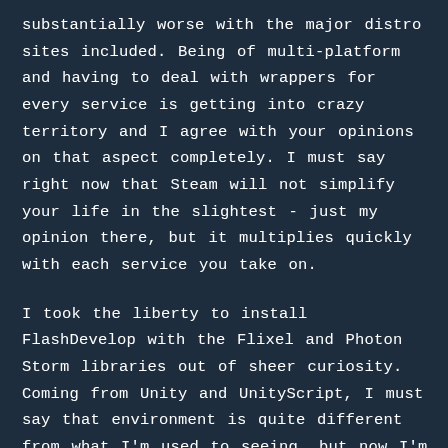substantially worse with the major distro sites included. Being of multi-platform and having to deal with wrappers for every service is getting into crazy territory and I agree with your opinions on that aspect completely. I must say right now that Steam will not simplify your life in the slightest - just my opinion there, but it multiplies quickly with each service you take on.
I took the liberty to install FlashDevelop with the Flixel and Photon Storm libraries out of sheer curiosity. Coming from Unity and UnityScript, I must say that environment is quite different from what I'm used to seeing, but now I'm even more curious and might poke